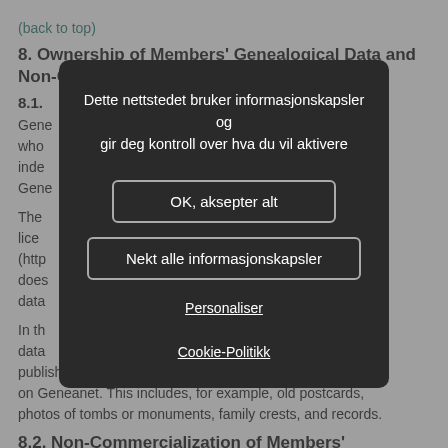(back to top)
8. Ownership of Members' Genealogical Data and Non-Commercialization
8.1.
Genea... ers who... inde... n Gene...
The ... ons lice... (http... ) does... is data...
In th... data... published by the respective member, will remain accessible on Geneanet. This includes, for example, old postcards, photos of tombs or monuments, family crests, and records.
[Figure (screenshot): Cookie consent modal dialog in Norwegian with dark background. Contains title text 'Dette nettstedet bruker informasjonskapsler og gir deg kontroll over hva du vil aktivere', buttons 'OK, aksepter alt', 'Nekt alle informasjonskapsler', and links 'Personaliser' and 'Cookie-Politikk'.]
8.2. Non-Commercialization of Members' Genealogical...